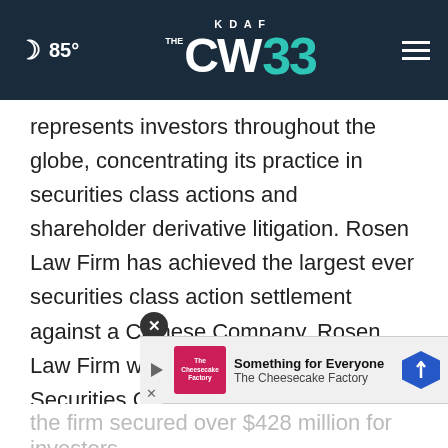KDAF CW33 — 85°
represents investors throughout the globe, concentrating its practice in securities class actions and shareholder derivative litigation. Rosen Law Firm has achieved the largest ever securities class action settlement against a Chinese Company. Rosen Law Firm was Ranked No. 1 by ISS Securities Class Action Services for number of securities class action settlements in 2017. The firm has been ranked in the top 4 each year since 2013 and has recovered hundreds of millions of dollars for investors ... the firm secured over $428 million for investors
[Figure (screenshot): Advertisement banner: The Cheesecake Factory — Something for Everyone]